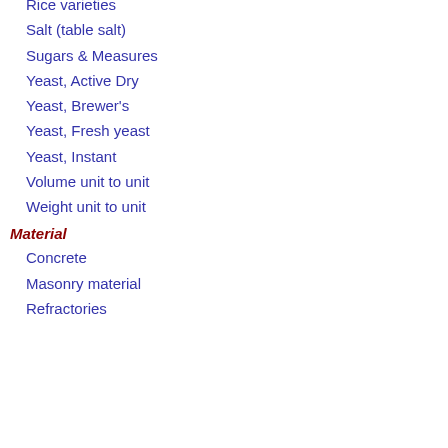Rice varieties
Salt (table salt)
Sugars & Measures
Yeast, Active Dry
Yeast, Brewer's
Yeast, Fresh yeast
Yeast, Instant
Volume unit to unit
Weight unit to unit
Material
Concrete
Masonry material
Refractories